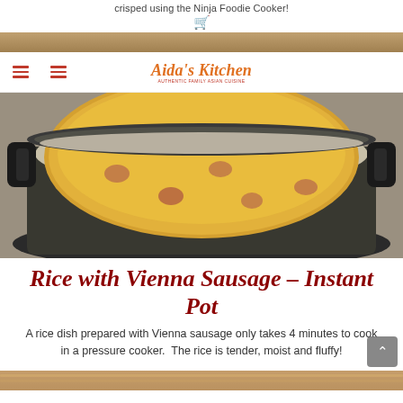crisped using the Ninja Foodie Cooker!
[Figure (photo): Shopping cart icon in red]
[Figure (photo): Top partial food photo strip]
[Figure (logo): Aida's Kitchen logo with tagline]
[Figure (photo): Instant Pot pressure cooker filled with rice and Vienna sausage pieces on a granite countertop]
Rice with Vienna Sausage – Instant Pot
A rice dish prepared with Vienna sausage only takes 4 minutes to cook in a pressure cooker.  The rice is tender, moist and fluffy!
[Figure (photo): Bottom partial food photo strip]